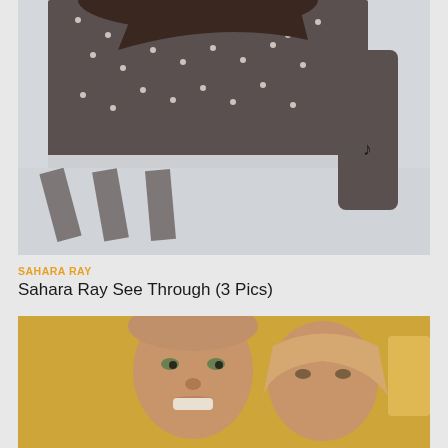[Figure (photo): Close-up of a woman wearing a sheer dark polka-dot top with a white skirt, arm raised showing a tattoo, outdoor snowy background]
SAHARA RAY
Sahara Ray See Through (3 Pics)
[Figure (photo): Selfie photo of a young man and woman in a warm-toned indoor setting, both looking toward camera]